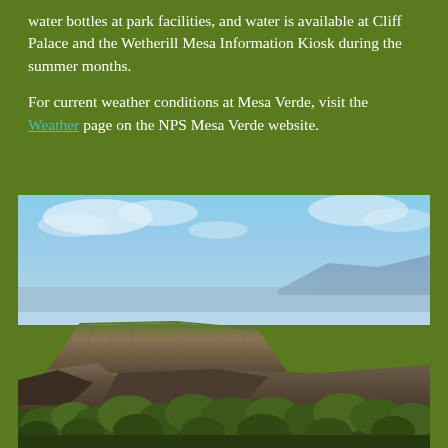water bottles at park facilities, and water is available at Cliff Palace and the Wetherill Mesa Information Kiosk during the summer months.
For current weather conditions at Mesa Verde, visit the Weather page on the NPS Mesa Verde website.
[Figure (photo): Landscape photograph of Mesa Verde showing mesa formations with flat tops, eroded canyon walls, and foreground vegetation of scrub trees and bushes under a partly cloudy blue sky with distant mountains on the horizon.]